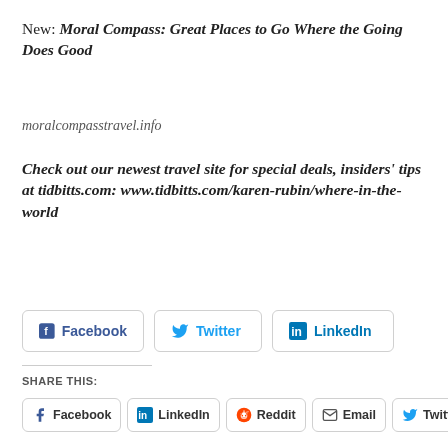New: Moral Compass: Great Places to Go Where the Going Does Good
moralcompasstravel.info
Check out our newest travel site for special deals, insiders' tips at tidbitts.com: www.tidbitts.com/karen-rubin/where-in-the-world
[Figure (other): Social sharing buttons row 1: Facebook, Twitter, LinkedIn buttons with icons]
SHARE THIS:
[Figure (other): Social sharing buttons row 2: Facebook, LinkedIn, Reddit, Email, Twitter buttons with icons]